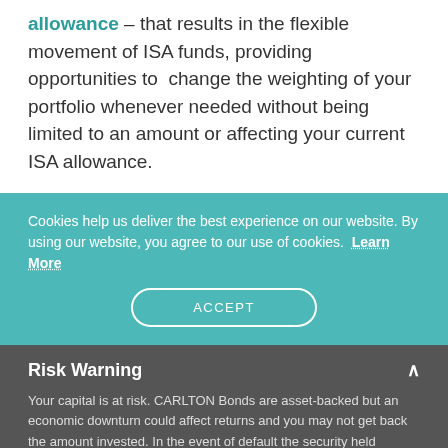allowance – that results in the flexible movement of ISA funds, providing opportunities to change the weighting of your portfolio whenever needed without being limited to an amount or affecting your current ISA allowance.
Cookies help us deliver the best experience on our website. By using our website, you agree to our use of cookies. Learn More
ACCEPT
Risk Warning
Your capital is at risk. CARLTON Bonds are asset-backed but an economic downturn could affect returns and you may not get back the amount invested. In the event of default the security held doesn't guarantee the return of your capital. Enforcing your security may take time and your returns may be delayed. Investment is not covered by the Financial Services Compensation Scheme (FSCS). See key risks before investing.